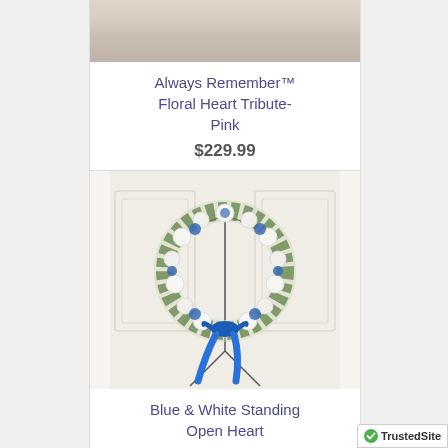[Figure (photo): Partial top of a floral heart tribute product image on a stand with drape background]
Always Remember™ Floral Heart Tribute-Pink
$229.99
[Figure (photo): Blue and white standing open heart floral wreath on a tripod stand with blue ribbon, against a white paneled wall]
Blue & White Standing Open Heart
$229.99
[Figure (logo): TrustedSite badge with green checkmark]